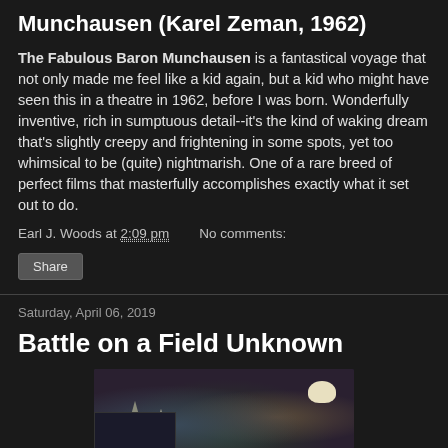Munchausen (Karel Zeman, 1962)
The Fabulous Baron Munchausen is a fantastical voyage that not only made me feel like a kid again, but a kid who might have seen this in a theatre in 1962, before I was born. Wonderfully inventive, rich in sumptuous detail--it's the kind of waking dream that's slightly creepy and frightening in some spots, yet too whimsical to be (quite) nightmarish. One of a rare breed of perfect films that masterfully accomplishes exactly what it set out to do.
Earl J. Woods at 2:09 pm   No comments:
Share
Saturday, April 06, 2019
Battle on a Field Unknown
[Figure (photo): A photograph showing small decorative pine trees and a white bowl on a surface with a dark blue/purple background]